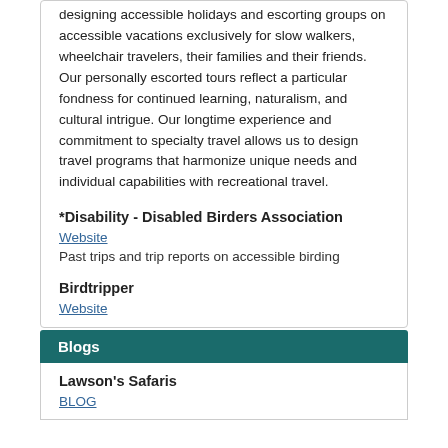designing accessible holidays and escorting groups on accessible vacations exclusively for slow walkers, wheelchair travelers, their families and their friends. Our personally escorted tours reflect a particular fondness for continued learning, naturalism, and cultural intrigue. Our longtime experience and commitment to specialty travel allows us to design travel programs that harmonize unique needs and individual capabilities with recreational travel.
*Disability - Disabled Birders Association
Website
Past trips and trip reports on accessible birding
Birdtripper
Website
Blogs
Lawson's Safaris
BLOG